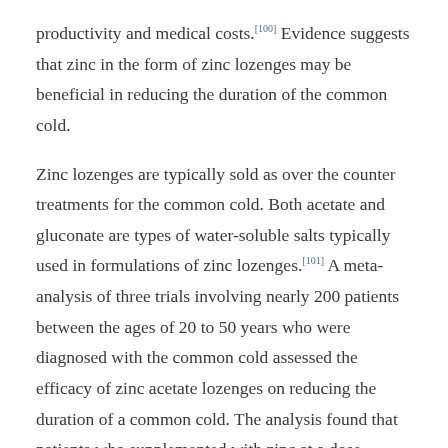productivity and medical costs.[100] Evidence suggests that zinc in the form of zinc lozenges may be beneficial in reducing the duration of the common cold.
Zinc lozenges are typically sold as over the counter treatments for the common cold. Both acetate and gluconate are types of water-soluble salts typically used in formulations of zinc lozenges.[101] A meta-analysis of three trials involving nearly 200 patients between the ages of 20 to 50 years who were diagnosed with the common cold assessed the efficacy of zinc acetate lozenges on reducing the duration of a common cold. The analysis found that patients who supplemented with zinc at a dose between 80 and 92 milligrams per day recovered approximately three times